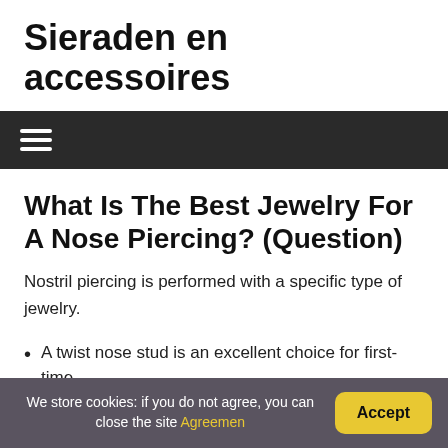Sieraden en accessoires
What Is The Best Jewelry For A Nose Piercing? (Question)
Nostril piercing is performed with a specific type of jewelry.
A twist nose stud is an excellent choice for first-time
We store cookies: if you do not agree, you can close the site Agreemen